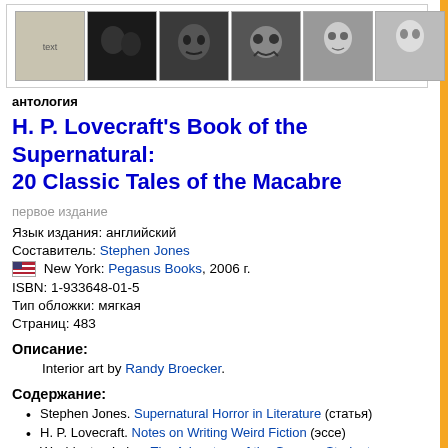[Figure (photo): Strip of 6 thumbnail images from book interior, showing dark gothic/horror illustrations including figures, skulls, and faces]
антология
H. P. Lovecraft's Book of the Supernatural: 20 Classic Tales of the Macabre
первое издание
Язык издания: английский
Составитель: Stephen Jones
🇺🇸 New York: Pegasus Books, 2006 г.
ISBN: 1-933648-01-5
Тип обложки: мягкая
Страниц: 483
Описание:
Interior art by Randy Broecker.
Содержание:
Stephen Jones. Supernatural Horror in Literature (статья)
H. P. Lovecraft. Notes on Writing Weird Fiction (эссе)
Washington Irving. The Adventure of the German Student (рассказ)
Robert Louis Stevenson. Markheim (рассказ)
Guy de Maupassant. Who Knows? (рассказ)